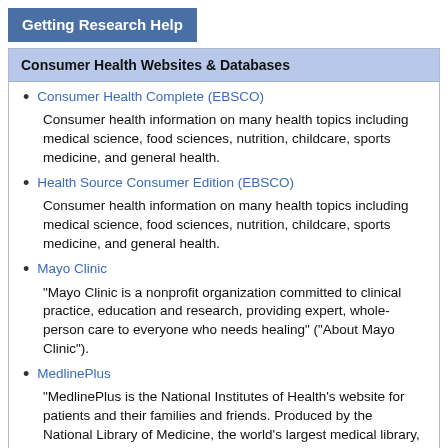Getting Research Help
Consumer Health Websites & Databases
Consumer Health Complete (EBSCO)
Consumer health information on many health topics including medical science, food sciences, nutrition, childcare, sports medicine, and general health.
Health Source Consumer Edition (EBSCO)
Consumer health information on many health topics including medical science, food sciences, nutrition, childcare, sports medicine, and general health.
Mayo Clinic
"Mayo Clinic is a nonprofit organization committed to clinical practice, education and research, providing expert, whole-person care to everyone who needs healing" ("About Mayo Clinic").
MedlinePlus
"MedlinePlus is the National Institutes of Health's website for patients and their families and friends. Produced by the National Library of Medicine, the world's largest medical library, it brings you information about diseases, conditions, and wellness issues in language you can